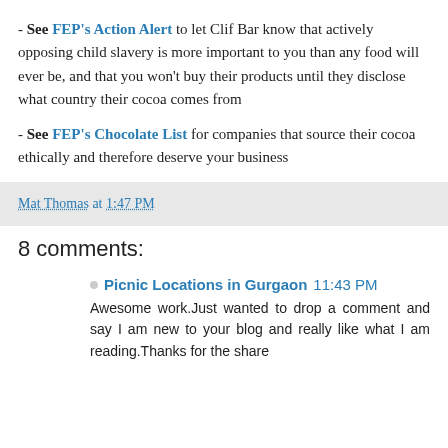- Use FEP's Action Alert to let Clif Bar know that actively opposing child slavery is more important to you than any food will ever be, and that you won't buy their products until they disclose what country their cocoa comes from
- See FEP's Chocolate List for companies that source their cocoa ethically and therefore deserve your business
Mat Thomas at 1:47 PM
8 comments:
Picnic Locations in Gurgaon 11:43 PM
Awesome work.Just wanted to drop a comment and say I am new to your blog and really like what I am reading.Thanks for the share